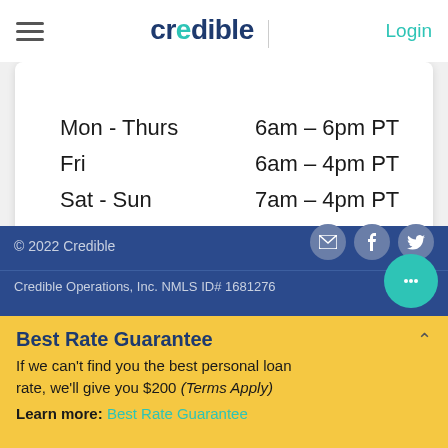credible | Login
| Day | Hours |
| --- | --- |
| Mon - Thurs | 6am – 6pm PT |
| Fri | 6am – 4pm PT |
| Sat - Sun | 7am – 4pm PT |
© 2022 Credible
Credible Operations, Inc. NMLS ID# 1681276
Best Rate Guarantee
If we can't find you the best personal loan rate, we'll give you $200 (Terms Apply)
Learn more: Best Rate Guarantee